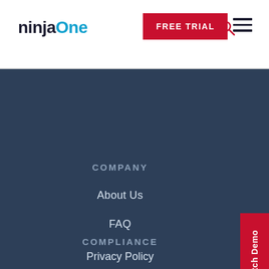[Figure (logo): NinjaOne logo with 'ninja' in dark and 'One' in blue]
FREE TRIAL
[Figure (other): Search icon (magnifying glass)]
[Figure (other): Hamburger menu icon (three horizontal lines)]
COMPANY
About Us
FAQ
In the News
Careers
License
COMPLIANCE
Privacy Policy
[Figure (other): Watch Demo vertical red tab on right side]